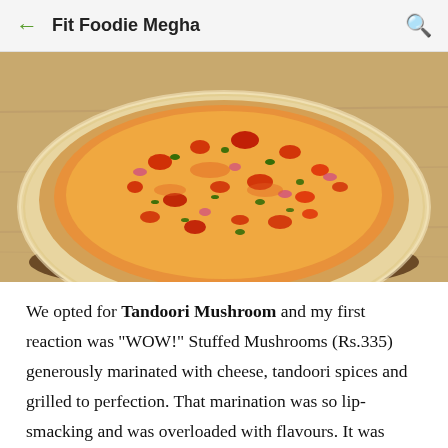Fit Foodie Megha
[Figure (photo): A large stuffed mushroom dish topped with diced red tomatoes, red onions, green herbs, and orange cheese, served on a wooden surface.]
We opted for Tandoori Mushroom and my first reaction was "WOW!" Stuffed Mushrooms (Rs.335) generously marinated with cheese, tandoori spices and grilled to perfection. That marination was so lip-smacking and was overloaded with flavours. It was heavy and rich in